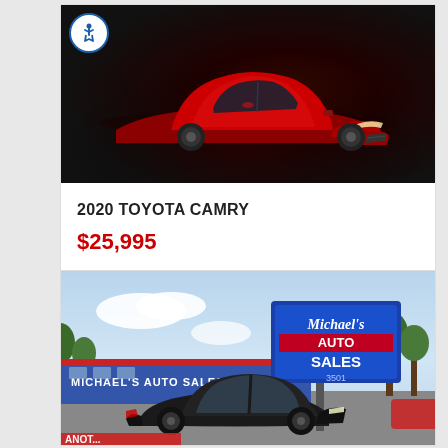[Figure (photo): Red 2020 Toyota Camry sport sedan photographed on dark background with accessibility icon overlay in top-left corner]
2020 TOYOTA CAMRY
$25,995
VIEW DETAILS →
[Figure (photo): Michael's Auto Sales dealership exterior with blue signage, a dark sedan parked in the lot, and partial text 'MICHAEL'S AUTO SALES' on the building]